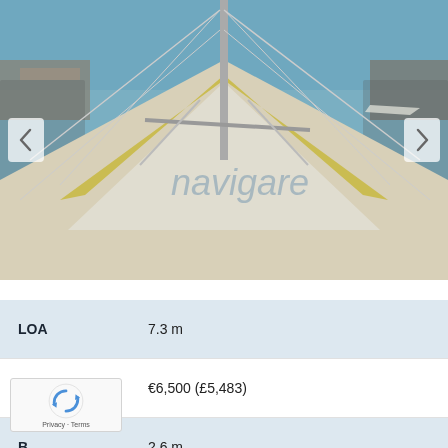[Figure (photo): View from the deck of a sailboat looking forward along the hull toward the bow, with a mast, rigging, and a marina/river in the background. A watermark reading 'navigare' is visible on the image.]
| LOA | 7.3 m |
| Price | €6,500 (£5,483) |
| B[eam] | 2.6 m |
| Tax Status | Tax Paid |